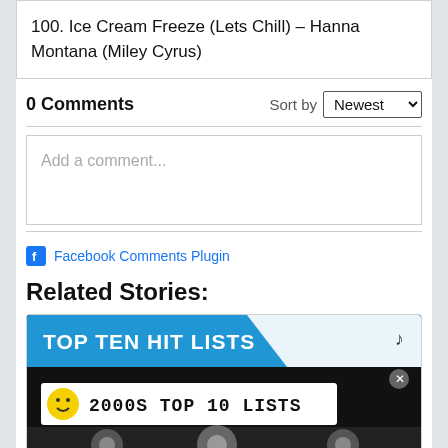100. Ice Cream Freeze (Lets Chill) – Hanna Montana (Miley Cyrus)
0 Comments   Sort by Newest
Add a comment...
Facebook Comments Plugin
Related Stories:
[Figure (screenshot): Cassette tape graphic with 'TOP TEN HIT LISTS' blue header and '2000s TOP 10 LISTS' label with smiley face icon]